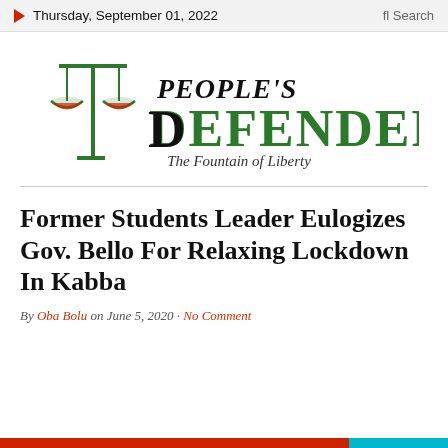Thursday, September 01, 2022   fl Search
[Figure (logo): People's Defender newspaper logo with scales of justice icon. Text: PEOPLE'S DEFENDER – The Fountain of Liberty]
Former Students Leader Eulogizes Gov. Bello For Relaxing Lockdown In Kabba
By Oba Bolu on June 5, 2020 · No Comment